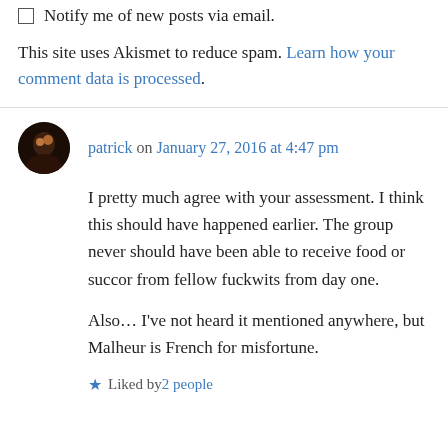Notify me of new posts via email.
This site uses Akismet to reduce spam. Learn how your comment data is processed.
patrick on January 27, 2016 at 4:47 pm
I pretty much agree with your assessment. I think this should have happened earlier. The group never should have been able to receive food or succor from fellow fuckwits from day one.

Also… I've not heard it mentioned anywhere, but Malheur is French for misfortune.
Liked by 2 people